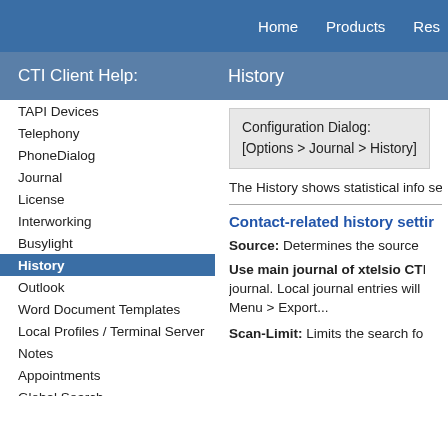Home   Products   Res
CTI Client Help:   History
TAPI Devices
Telephony
PhoneDialog
Journal
License
Interworking
Busylight
History
Outlook
Word Document Templates
Local Profiles / Terminal Server
Notes
Appointments
Global Search
Windows
Window Management
Design
Tutorials
Configuration Dialog:
[Options > Journal > History]
The History shows statistical info selected contact/call in the form
Contact-related history settings
Source: Determines the source
Use main journal of xtelsio CTI journal. Local journal entries will Menu > Export...
Scan-Limit: Limits the search fo